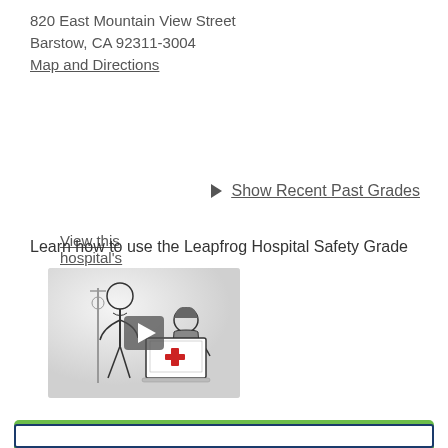820 East Mountain View Street
Barstow, CA 92311-3004
Map and Directions
View this hospital's Leapfrog Hospital Survey Results
▶ Show Recent Past Grades
Learn how to use the Leapfrog Hospital Safety Grade
[Figure (illustration): Video thumbnail showing two illustrated figures — a man standing and a woman seated at a laptop with a red cross on screen. A play button overlay is visible in the center.]
Infections